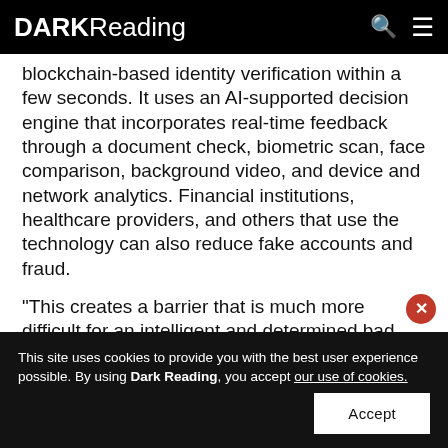DARK Reading
blockchain-based identity verification within a few seconds. It uses an AI-supported decision engine that incorporates real-time feedback through a document check, biometric scan, face comparison, background video, and device and network analytics. Financial institutions, healthcare providers, and others that use the technology can also reduce fake accounts and fraud.
"This creates a barrier that is much more difficult for an intelligent and determined bad actor to bypass," says Kalev Rundu, senior product manager at Veriff. "People today are much more willing to use biometrics for
This site uses cookies to provide you with the best user experience possible. By using Dark Reading, you accept our use of cookies.